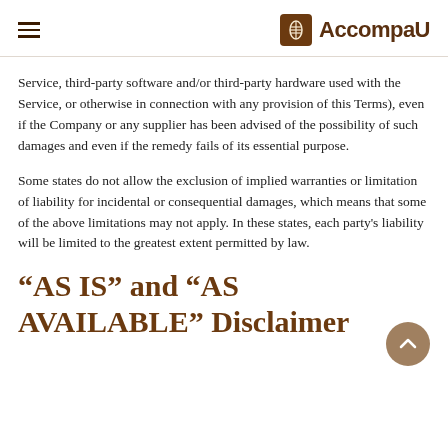AccompaU
Service, third-party software and/or third-party hardware used with the Service, or otherwise in connection with any provision of this Terms), even if the Company or any supplier has been advised of the possibility of such damages and even if the remedy fails of its essential purpose.
Some states do not allow the exclusion of implied warranties or limitation of liability for incidental or consequential damages, which means that some of the above limitations may not apply. In these states, each party's liability will be limited to the greatest extent permitted by law.
“AS IS” and “AS AVAILABLE” Disclaimer